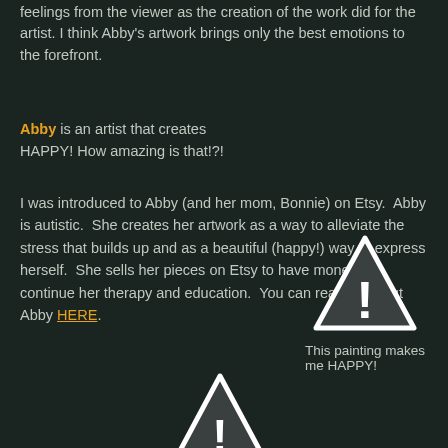feelings from the viewer as the creation of the work did for the artist. I think Abby's artwork brings only the best emotions to the forefront.
Abby is an artist that creates HAPPY! How amazing is that!?!
I was introduced to Abby (and her mom, Bonnie) on Etsy. Abby is autistic. She creates her artwork as a way to alleviate the stress that builds up and as a beautiful (happy!) way to express herself. She sells her pieces on Etsy to have money to continue her therapy and education. You can read all about Abby HERE.
[Figure (illustration): Warning triangle icon with exclamation mark, white outline on dark background, top right area]
This painting makes me HAPPY!
[Figure (illustration): Warning triangle icon with exclamation mark, white outline on dark background, bottom center]